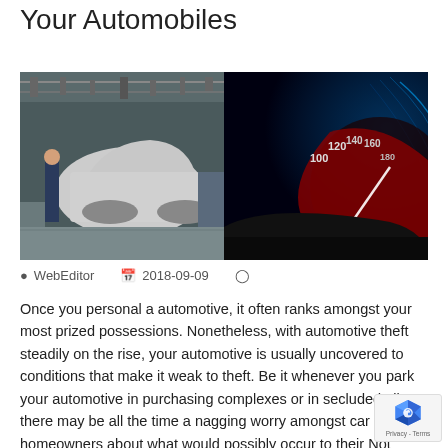Your Automobiles
[Figure (photo): Split image: left side shows an automobile manufacturing plant with a car body on an assembly line; right side shows a speedometer with motion blur, red and blue tones, reading up to 200.]
WebEditor   2018-09-09
Once you personal a automotive, it often ranks amongst your most prized possessions. Nonetheless, with automotive theft steadily on the rise, your automotive is usually uncovered to conditions that make it weak to theft. Be it whenever you park your automotive in purchasing complexes or in secluded alleys, there may be all the time a nagging worry amongst car homeowners about what would possibly occur to their Not simply automotive theft, even incidences of stealing